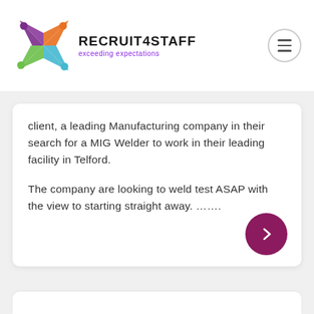[Figure (logo): Recruit4Staff logo with colorful star-burst figure and text 'RECRUIT4STAFF exceeding expectations']
client, a leading Manufacturing company in their search for a MIG Welder to work in their leading facility in Telford.
The company are looking to weld test ASAP with the view to starting straight away. .......